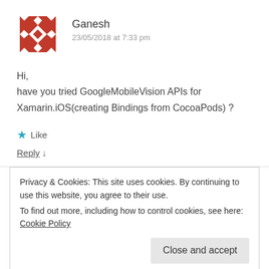[Figure (logo): Red geometric quilt-pattern avatar icon for user Ganesh]
Ganesh
23/05/2018 at 7:33 pm
Hi,
have you tried GoogleMobileVision APIs for Xamarin.iOS(creating Bindings from CocoaPods) ?
★ Like
Reply ↓
Privacy & Cookies: This site uses cookies. By continuing to use this website, you agree to their use.
To find out more, including how to control cookies, see here: Cookie Policy
Close and accept